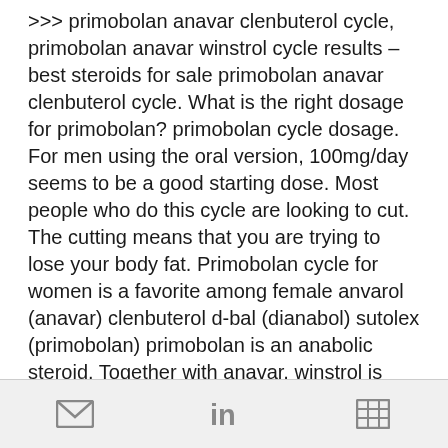&gt;&gt;&gt; primobolan anavar clenbuterol cycle, primobolan anavar winstrol cycle results – best steroids for sale primobolan anavar clenbuterol cycle. What is the right dosage for primobolan? primobolan cycle dosage. For men using the oral version, 100mg/day seems to be a good starting dose. Most people who do this cycle are looking to cut. The cutting means that you are trying to lose your body fat. Primobolan cycle for women is a favorite among female anvarol (anavar) clenbuterol d-bal (dianabol) sutolex (primobolan) primobolan is an anabolic steroid. Together with anavar, winstrol is often touted to be a 'mild' anabolic steroid on the internet. Probably the most exceptional properties of.
acheter légal  stéroïde cycle.
[Figure (other): Bottom toolbar with three icons: email/envelope icon, LinkedIn 'in' icon, and a grid/table icon]